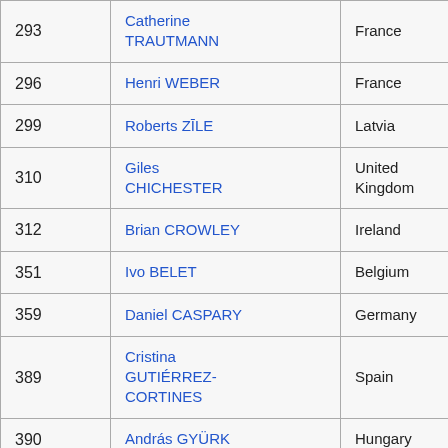| # | Name | Country |
| --- | --- | --- |
| 293 | Catherine TRAUTMANN | France |
| 296 | Henri WEBER | France |
| 299 | Roberts ZĪLE | Latvia |
| 310 | Giles CHICHESTER | United Kingdom |
| 312 | Brian CROWLEY | Ireland |
| 351 | Ivo BELET | Belgium |
| 359 | Daniel CASPARY | Germany |
| 389 | Cristina GUTIÉRREZ-CORTINES | Spain |
| 390 | András GYÜRK | Hungary |
| 400 | Romana JORDAN CIZELJ | Slovenia |